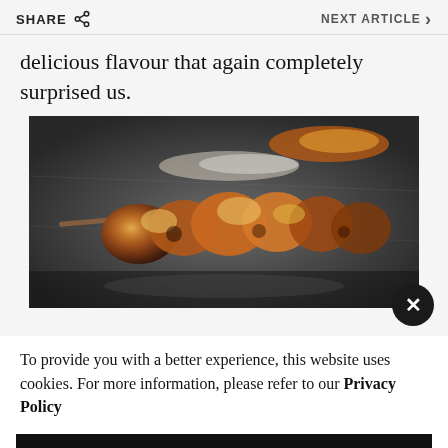SHARE   NEXT ARTICLE >
delicious flavour that again completely surprised us.
[Figure (photo): A grilled meat skewer (yakitori or similar) on a dark slate plate, golden-brown and charred, served with a garnish. Close-up food photography.]
To provide you with a better experience, this website uses cookies. For more information, please refer to our Privacy Policy
OK